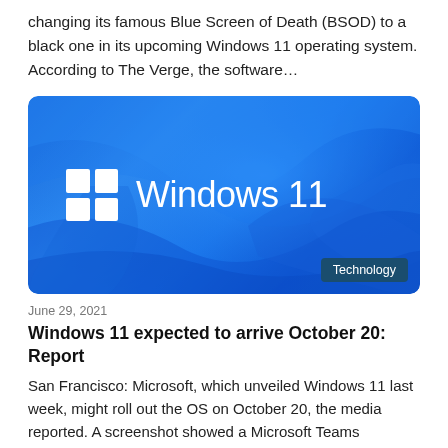changing its famous Blue Screen of Death (BSOD) to a black one in its upcoming Windows 11 operating system. According to The Verge, the software…
[Figure (screenshot): Windows 11 promotional image showing the Windows logo and 'Windows 11' text on a blue abstract wave background, with a 'Technology' badge in the bottom right corner.]
June 29, 2021
Windows 11 expected to arrive October 20: Report
San Francisco: Microsoft, which unveiled Windows 11 last week, might roll out the OS on October 20, the media reported. A screenshot showed a Microsoft Teams message from Stevie Bathiche of the…